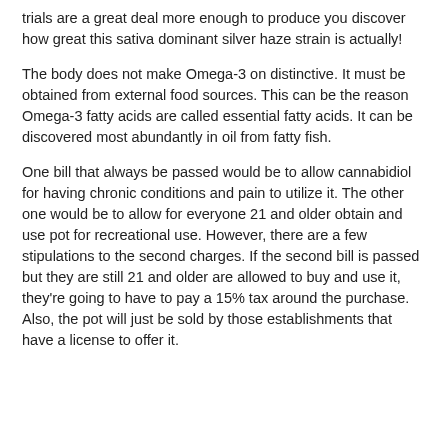trials are a great deal more enough to produce you discover how great this sativa dominant silver haze strain is actually!
The body does not make Omega-3 on distinctive. It must be obtained from external food sources. This can be the reason Omega-3 fatty acids are called essential fatty acids. It can be discovered most abundantly in oil from fatty fish.
One bill that always be passed would be to allow cannabidiol for having chronic conditions and pain to utilize it. The other one would be to allow for everyone 21 and older obtain and use pot for recreational use. However, there are a few stipulations to the second charges. If the second bill is passed but they are still 21 and older are allowed to buy and use it, they're going to have to pay a 15% tax around the purchase. Also, the pot will just be sold by those establishments that have a license to offer it.